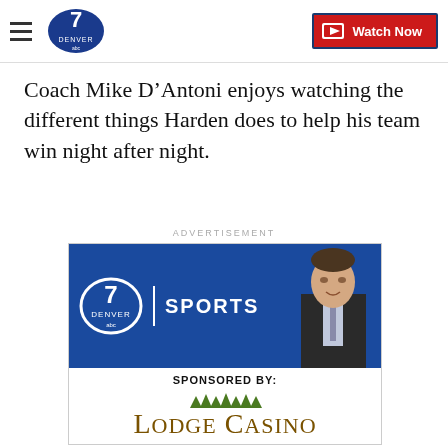Denver7 ABC — Watch Now
Coach Mike D’Antoni enjoys watching the different things Harden does to help his team win night after night.
ADVERTISEMENT
[Figure (infographic): Denver7 ABC Sports advertisement banner sponsored by Lodge Casino, featuring a male sports anchor in a suit against a blue background with the Denver7 ABC logo and SPORTS text, followed by a white section reading SPONSORED BY: Lodge Casino]